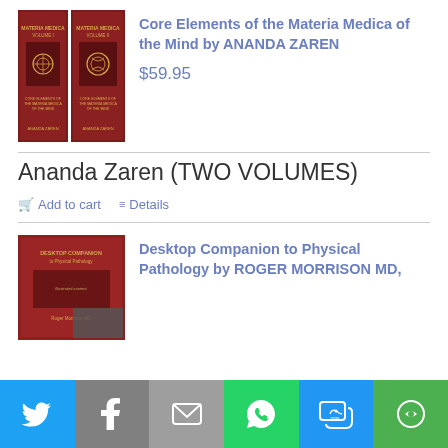[Figure (photo): Two dark red/maroon book covers titled Materia Medica, Volumes I and II by Ananda Zaren]
Core Elements of the Materia Medica of the Mind by ANANDA ZAREN
$59.95
Ananda Zaren (TWO VOLUMES)
Add to cart
Details
[Figure (photo): Dark red/maroon book cover titled Desktop Companion to Physical Pathology by Roger Morrison MD with a dark overlay in the corner]
Desktop Companion to Physical Pathology by ROGER MORRISON MD,